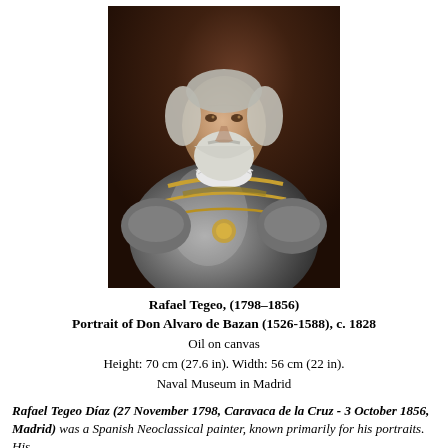[Figure (photo): Portrait painting of Don Alvaro de Bazan, an elderly bearded man wearing ornate armor with gold decorations and a white ruffled collar, painted against a dark brown background. By Rafael Tegeo, c. 1828.]
Rafael Tegeo, (1798–1856)
Portrait of Don Alvaro de Bazan (1526-1588), c. 1828
Oil on canvas
Height: 70 cm (27.6 in). Width: 56 cm (22 in).
Naval Museum in Madrid
Rafael Tegeo Díaz (27 November 1798, Caravaca de la Cruz - 3 October 1856, Madrid) was a Spanish Neoclassical painter, known primarily for his portraits. His